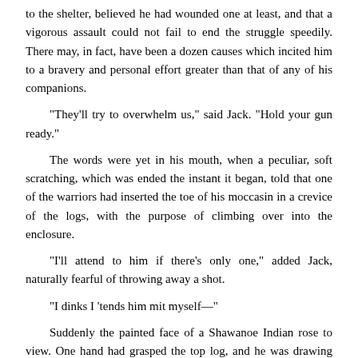to the shelter, believed he had wounded one at least, and that a vigorous assault could not fail to end the struggle speedily. There may, in fact, have been a dozen causes which incited him to a bravery and personal effort greater than that of any of his companions.
"They'll try to overwhelm us," said Jack. "Hold your gun ready."
The words were yet in his mouth, when a peculiar, soft scratching, which was ended the instant it began, told that one of the warriors had inserted the toe of his moccasin in a crevice of the logs, with the purpose of climbing over into the enclosure.
"I'll attend to him if there's only one," added Jack, naturally fearful of throwing away a shot.
"I dinks I 'tends him mit myself—"
Suddenly the painted face of a Shawanoe Indian rose to view. One hand had grasped the top log, and he was drawing himself rapidly upward with the purpose of leaping over. The countenance was frightful beyond description—the streaks and circles in red, yellow, and